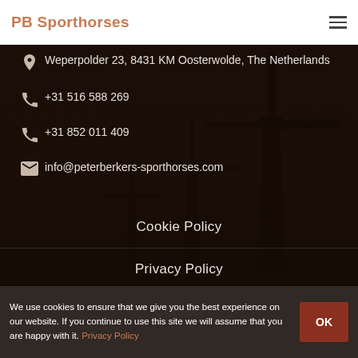PB Sporthorses
Weperpolder 23, 8431 KM Oosterwolde, The Netherlands
+31 516 588 269
+31 852 011 409
info@peterberkers-sporthorses.com
Cookie Policy
Privacy Policy
Contact
We use cookies to ensure that we give you the best experience on our website. If you continue to use this site we will assume that you are happy with it. Privacy Policy